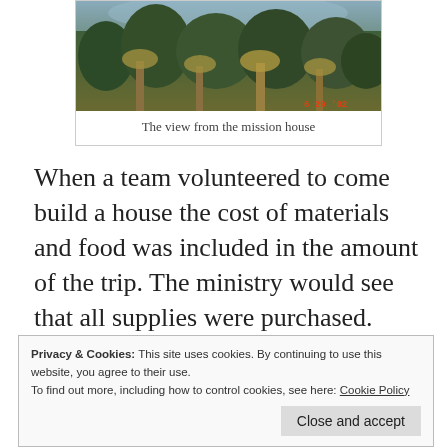[Figure (photo): A photograph showing a tropical landscape with palm trees and dense green vegetation, taken from a mission house. A red timestamp reads '6 29 02' in the lower right corner.]
The view from the mission house
When a team volunteered to come build a house the cost of materials and food was included in the amount of the trip. The ministry would see that all supplies were purchased.
Privacy & Cookies: This site uses cookies. By continuing to use this website, you agree to their use.
To find out more, including how to control cookies, see here: Cookie Policy
Close and accept
The people who were chosen to have a house